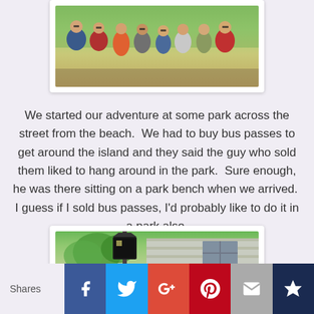[Figure (photo): Group photo of approximately 7-8 people standing together outdoors in a park, wearing summer clothing including patriotic/American flag shirts, orange dress, camo, and red shirt. Trees visible in background.]
We started our adventure at some park across the street from the beach.  We had to buy bus passes to get around the island and they said the guy who sold them liked to hang around in the park.  Sure enough, he was there sitting on a park bench when we arrived.  I guess if I sold bus passes, I'd probably like to do it in a park also.
[Figure (photo): Outdoor photo showing a black lantern-style street lamp on a post with trees and a white/gray clapboard building facade in the background.]
Shares